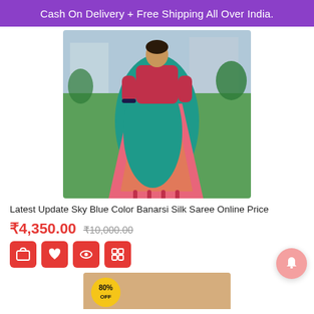Cash On Delivery + Free Shipping All Over India.
[Figure (photo): A woman wearing a teal/sky blue Banarsi silk saree with pink and gold border, standing on a lawn with buildings in background.]
Latest Update Sky Blue Color Banarsi Silk Saree Online Price
₹4,350.00  ₹10,000.00
[Figure (photo): Partial bottom preview of another saree product with a sale badge showing percent off.]